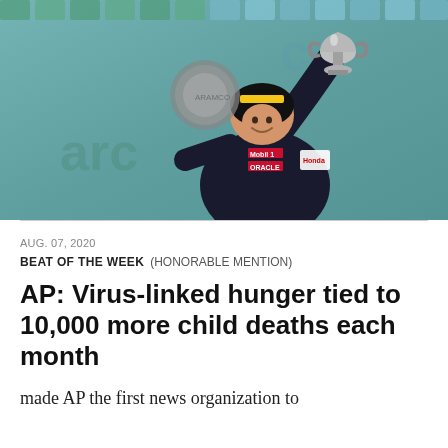[Figure (photo): A Formula 1 racing driver wearing a Red Bull Honda racing suit with Mobil 1 and Oracle sponsorships, holding a trophy aloft with one arm raised, smiling, standing on a podium with a blurred background showing sponsor signage.]
AUG. 07, 2020
BEAT OF THE WEEK   (HONORABLE MENTION)
AP: Virus-linked hunger tied to 10,000 more child deaths each month
made AP the first news organization to